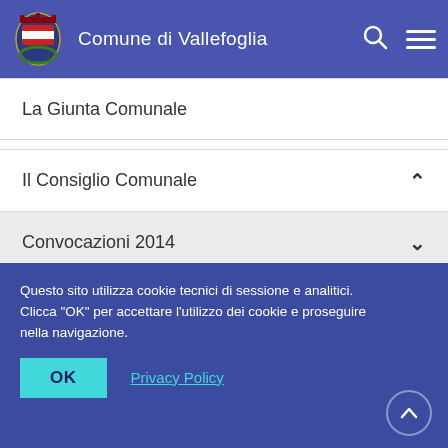Comune di Vallefoglia
La Giunta Comunale
Il Consiglio Comunale
Convocazioni 2014
Convocazioni 2015
Questo sito utilizza cookie tecnici di sessione e analitici. Clicca "OK" per accettare l'utilizzo dei cookie e proseguire nella navigazione.
OK
Privacy Policy